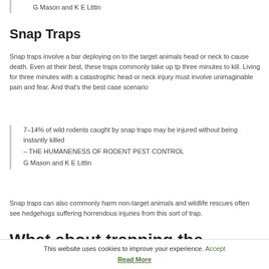G Mason and K E Littin
Snap Traps
Snap traps involve a bar deploying on to the target animals head or neck to cause death. Even at their best, these traps commonly take up tp three minutes to kill. Living for three minutes with a catastrophic head or neck injury must involve unimaginable pain and fear. And that’s the best case scenario
7–14% of wild rodents caught by snap traps may be injured without being instantly killed
– THE HUMANENESS OF RODENT PEST CONTROL
G Mason and K E Littin
Snap traps can also commonly harm non-target animals and wildlife rescues often see hedgehogs suffering horrendous injuries from this sort of trap.
What about trapping the animals and
This website uses cookies to improve your experience. Accept
Read More